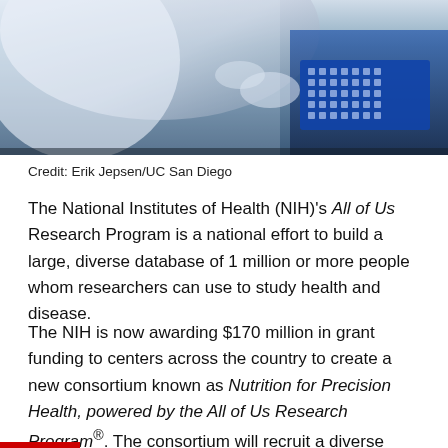[Figure (photo): Laboratory researcher in white coat working with scientific equipment, blue tray with samples visible]
Credit: Erik Jepsen/UC San Diego
The National Institutes of Health (NIH)'s All of Us Research Program is a national effort to build a large, diverse database of 1 million or more people whom researchers can use to study health and disease.
The NIH is now awarding $170 million in grant funding to centers across the country to create a new consortium known as Nutrition for Precision Health, powered by the All of Us Research Program®. The consortium will recruit a diverse pool of 10,000 All of Us Research Program participants to develop algorithms to predict individual